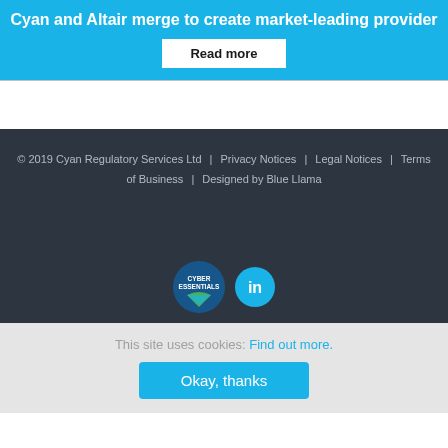Cyan and Altair merge to create market-leading provider
Read more
© 2019 Cyan Regulatory Services Ltd | Privacy Notices | Legal Notices | Terms of Business | Designed by Blue Llama
[Figure (logo): Cyber Essentials badge logo]
[Figure (logo): LinkedIn logo circle badge]
This site uses cookies: Find out more.
Okay, thanks